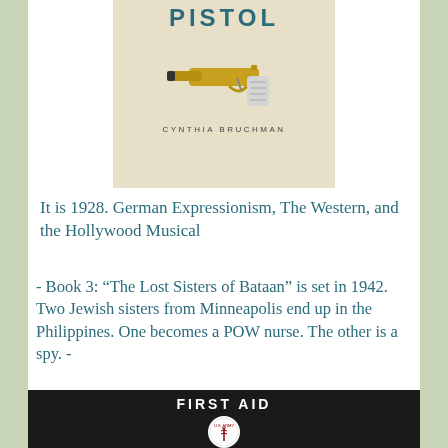[Figure (photo): Book cover showing a gold pistol on a beige background, titled 'PISTOL' by Cynthia Bruchman]
It is 1928. German Expressionism, The Western, and the Hollywood Musical
- Book 3: “The Lost Sisters of Bataan” is set in 1942. Two Jewish sisters from Minneapolis end up in the Philippines. One becomes a POW nurse. The other is a spy. -
[Figure (photo): Photo of a U.S. Army First Aid kit box, dark green/black with white 'FIRST AID' text and U.S. Army medical emblem]